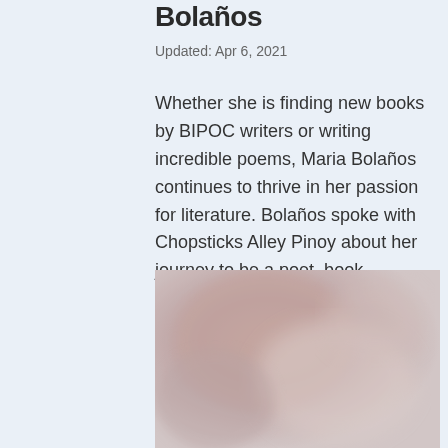Bolaños
Updated: Apr 6, 2021
Whether she is finding new books by BIPOC writers or writing incredible poems, Maria Bolaños continues to thrive in her passion for literature. Bolaños spoke with Chopsticks Alley Pinoy about her journey to be a poet, book reviews on Instagram, and representation in literature.
[Figure (photo): A blurred/soft-focus photograph, showing muted pink and mauve tones, appears to be a portrait or close-up image, partially cropped at the bottom of the page.]